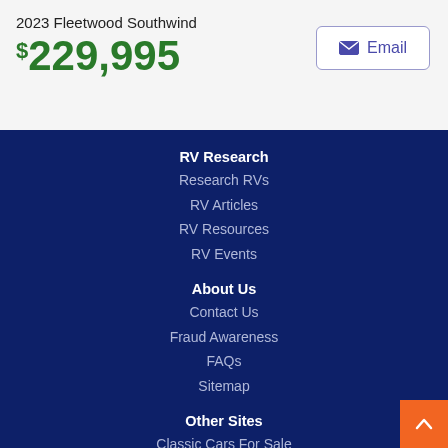2023 Fleetwood Southwind
$229,995
RV Research
Research RVs
RV Articles
RV Resources
RV Events
About Us
Contact Us
Fraud Awareness
FAQs
Sitemap
Other Sites
Classic Cars For Sale
Motorcycles for Sale